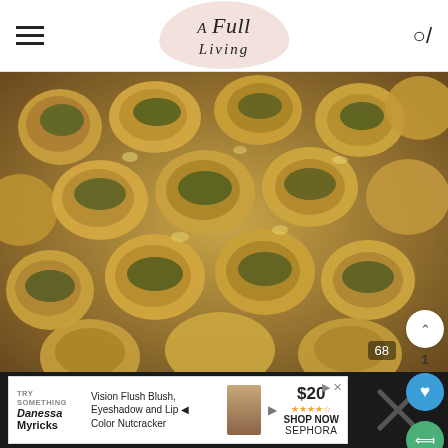A Full Living — navigation header with hamburger menu, logo, and search icon
[Figure (photo): Close-up overhead photo of stuffed mushrooms with spinach and cheese filling, golden brown and glistening]
Now, just serve and enjoy!
[Figure (screenshot): Advertisement banner: Try Something — Danessa Myricks — Vision Flush Blush, Eyeshadow and Lip Color Nutcracker — $20 — SHOP NOW — SEPHORA]